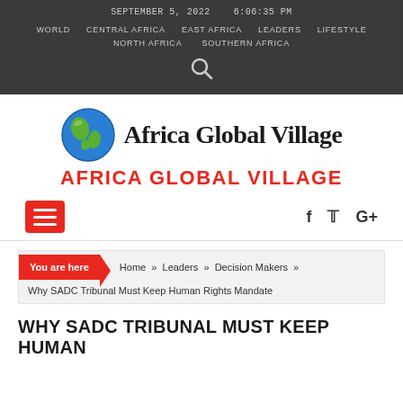SEPTEMBER 5, 2022   6:06:35 PM
WORLD   CENTRAL AFRICA   EAST AFRICA   LEADERS   LIFESTYLE   NORTH AFRICA   SOUTHERN AFRICA
[Figure (logo): Africa Global Village logo: globe icon with blackletter 'Africa Global Village' text, and red uppercase 'AFRICA GLOBAL VILLAGE' below]
You are here  Home » Leaders » Decision Makers »  Why SADC Tribunal Must Keep Human Rights Mandate
WHY SADC TRIBUNAL MUST KEEP HUMAN